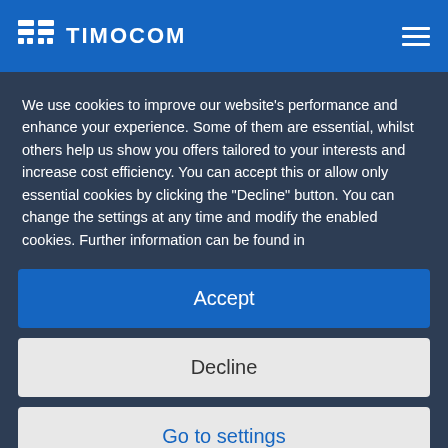TIMOCOM
We use cookies to improve our website's performance and enhance your experience. Some of them are essential, whilst others help us show you offers tailored to your interests and increase cost efficiency. You can accept this or allow only essential cookies by clicking the "Decline" button. You can change the settings at any time and modify the enabled cookies. Further information can be found in
Accept
Decline
Go to settings
Legal notice | Data protection